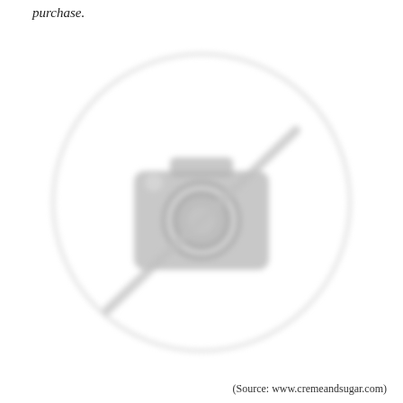purchase.
[Figure (illustration): Blurred placeholder image showing a grey camera icon with a diagonal line through it (no-photo symbol) inside a large light grey circle, indicating image not available.]
(Source: www.cremeandsugar.com)